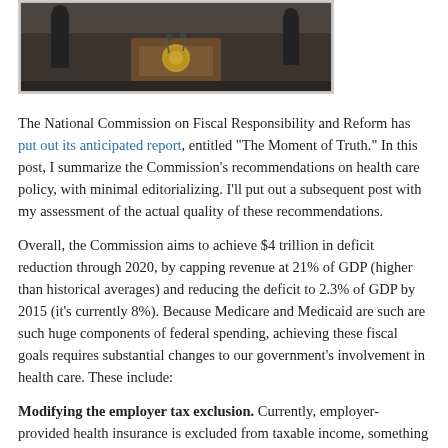[Figure (photo): Photo of a person at a podium with a Presidential seal, in a dark formal setting]
The National Commission on Fiscal Responsibility and Reform has put out its anticipated report, entitled “The Moment of Truth.” In this post, I summarize the Commission’s recommendations on health care policy, with minimal editorializing. I’ll put out a subsequent post with my assessment of the actual quality of these recommendations.
Overall, the Commission aims to achieve $4 trillion in deficit reduction through 2020, by capping revenue at 21% of GDP (higher than historical averages) and reducing the deficit to 2.3% of GDP by 2015 (it’s currently 8%). Because Medicare and Medicaid are such are such huge components of federal spending, achieving these fiscal goals requires substantial changes to our government’s involvement in health care. These include:
Modifying the employer tax exclusion. Currently, employer-provided health insurance is excluded from taxable income, something that grossly distorts our health care system by taking purchasing decisions out of individuals’ hands and placing them in the hands of HR